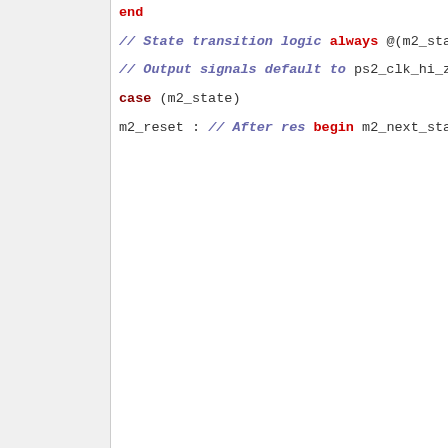end
// State transition logic
always @(m2_state
        or q
        or falling_edge
        or rising_edge
        or watchdog_timer_don
        or bit_count
        or packet_good
        or ps2_data
        or clean_clk
        )
begin : m2_state_logic
// Output signals default to
    ps2_clk_hi_z <= 1;
    ps2_data_hi_z <= 1;
    error_no_ack <= 0;
    output_strobe <= 0;
case (m2_state)
m2_reset :    // After res
      begin
        m2_next_state <= m2_ho